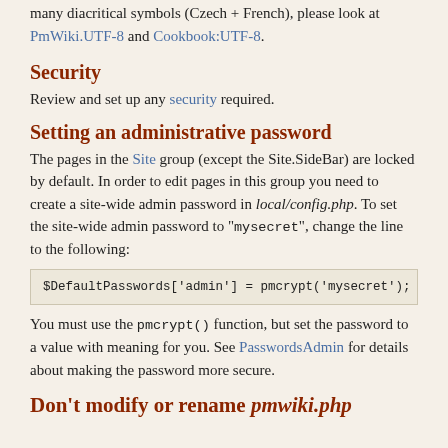many diacritical symbols (Czech + French), please look at PmWiki.UTF-8 and Cookbook:UTF-8.
Security
Review and set up any security required.
Setting an administrative password
The pages in the Site group (except the Site.SideBar) are locked by default. In order to edit pages in this group you need to create a site-wide admin password in local/config.php. To set the site-wide admin password to "mysecret", change the line to the following:
$DefaultPasswords['admin'] = pmcrypt('mysecret');
You must use the pmcrypt() function, but set the password to a value with meaning for you. See PasswordsAdmin for details about making the password more secure.
Don't modify or rename pmwiki.php